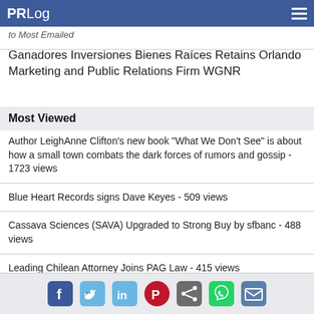PRLog
to Most Emailed
Ganadores Inversiones Bienes Raíces Retains Orlando Marketing and Public Relations Firm WGNR
Most Viewed
Author LeighAnne Clifton's new book "What We Don't See" is about how a small town combats the dark forces of rumors and gossip - 1723 views
Blue Heart Records signs Dave Keyes - 509 views
Cassava Sciences (SAVA) Upgraded to Strong Buy by sfbanc - 488 views
Leading Chilean Attorney Joins PAG Law - 415 views
Harford Retirement Planners Launches Endowment - 405 views
Social share icons: Facebook, Twitter, LinkedIn, Pinterest, Share, WhatsApp, Email